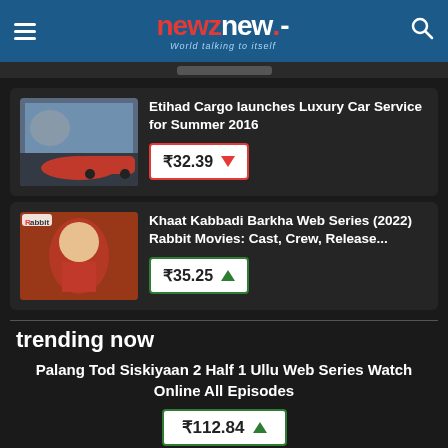newznew. - World talking to itself
Etihad Cargo launches Luxury Car Service for Summer 2016
₹32.39 ▼
Khaat Kabbadi Barkha Web Series (2022) Rabbit Movies: Cast, Crew, Release...
₹35.25 ▲
trending now
Palang Tod Siskiyaan 2 Half 1 Ullu Web Series Watch Online All Episodes
₹112.84 ▲